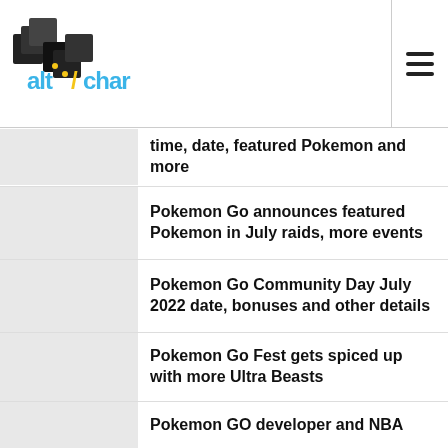AltChar
time, date, featured Pokemon and more
Pokemon Go announces featured Pokemon in July raids, more events
Pokemon Go Community Day July 2022 date, bonuses and other details
Pokemon Go Fest gets spiced up with more Ultra Beasts
Pokemon GO developer and NBA